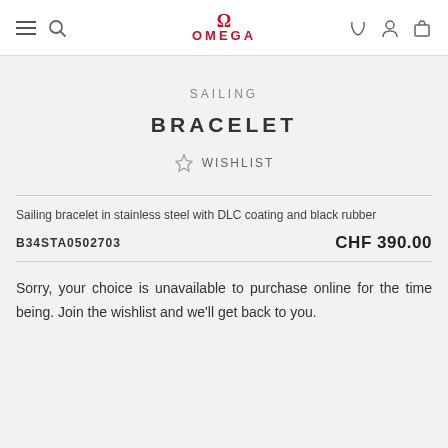OMEGA
SAILING
BRACELET
WISHLIST
Sailing bracelet in stainless steel with DLC coating and black rubber
B34STA0502703   CHF 390.00
Sorry, your choice is unavailable to purchase online for the time being. Join the wishlist and we'll get back to you.